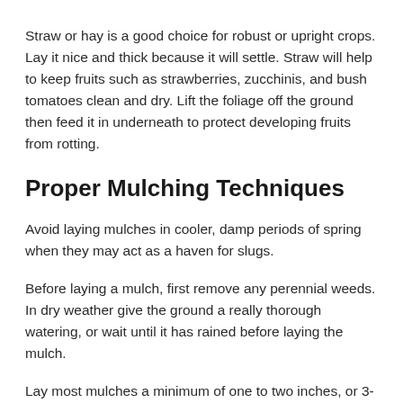Straw or hay is a good choice for robust or upright crops. Lay it nice and thick because it will settle. Straw will help to keep fruits such as strawberries, zucchinis, and bush tomatoes clean and dry. Lift the foliage off the ground then feed it in underneath to protect developing fruits from rotting.
Proper Mulching Techniques
Avoid laying mulches in cooler, damp periods of spring when they may act as a haven for slugs.
Before laying a mulch, first remove any perennial weeds. In dry weather give the ground a really thorough watering, or wait until it has rained before laying the mulch.
Lay most mulches a minimum of one to two inches, or 3-5cm